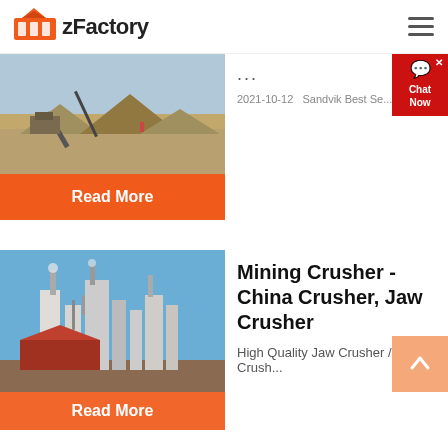zFactory
[Figure (photo): Outdoor mining/quarry site with conveyor belt and piles of material]
...
2021-10-12   Sandvik Best Se...
Read More
[Figure (photo): Industrial plant/cement factory with tall silos and chimneys against blue sky]
Mining Crusher - China Crusher, Jaw Crusher
High Quality Jaw Crusher / Crush...
Read More